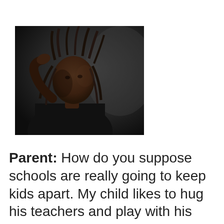[Figure (photo): Portrait photo of a person with dreadlocks wearing a dark shirt, hand raised to their head, against a dark background.]
Parent: How do you suppose schools are really going to keep kids apart. My child likes to hug his teachers and play with his friends. Will it be my fault if he can't social distance?